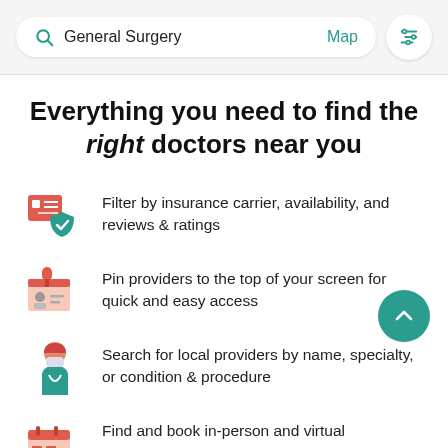General Surgery  Map
Everything you need to find the right doctors near you
Filter by insurance carrier, availability, and reviews & ratings
Pin providers to the top of your screen for quick and easy access
Search for local providers by name, specialty, or condition & procedure
Find and book in-person and virtual